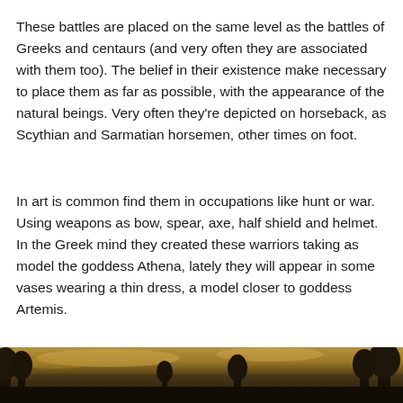These battles are placed on the same level as the battles of Greeks and centaurs (and very often they are associated with them too). The belief in their existence make necessary to place them as far as possible, with the appearance of the natural beings. Very often they're depicted on horseback, as Scythian and Sarmatian horsemen, other times on foot.
In art is common find them in occupations like hunt or war. Using weapons as bow, spear, axe, half shield and helmet. In the Greek mind they created these warriors taking as model the goddess Athena, lately they will appear in some vases wearing a thin dress, a model closer to goddess Artemis.
[Figure (photo): A dark landscape painting or photograph showing trees and sky in muted brown and gold tones, visible at the bottom of the page.]